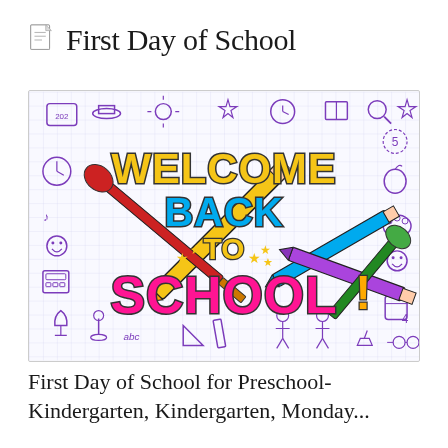First Day of School
[Figure (illustration): Colorful 'Welcome Back to School' illustration on a grid/graph paper background with purple doodles of school supplies (pencils, paintbrush, calculator, books, trophy, chess piece, etc.) and large colorful text reading WELCOME BACK TO SCHOOL with pencils and a paintbrush crossing behind the text.]
First Day of School for Preschool-Kindergarten, Kindergarten, Monday...